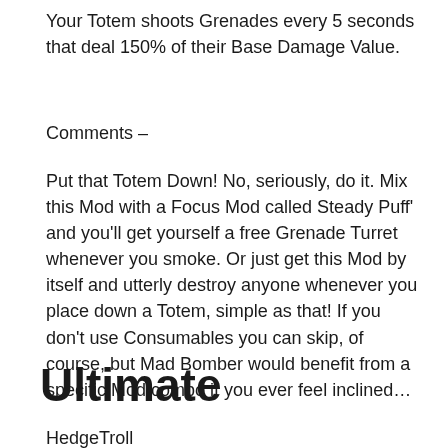Your Totem shoots Grenades every 5 seconds that deal 150% of their Base Damage Value.
Comments –
Put that Totem Down! No, seriously, do it. Mix this Mod with a Focus Mod called Steady Puff' and you'll get yourself a free Grenade Turret whenever you smoke. Or just get this Mod by itself and utterly destroy anyone whenever you place down a Totem, simple as that! If you don't use Consumables you can skip, of course, but Mad Bomber would benefit from a specific Mod combo if you ever feel inclined…
Ultimate
HedgeTroll